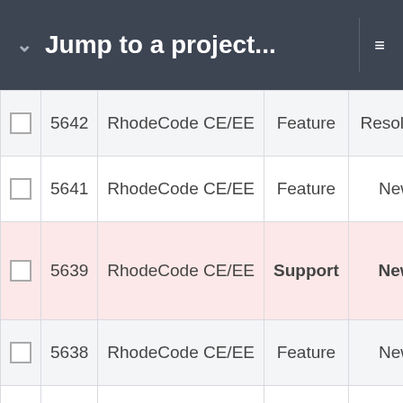Jump to a project...
|  | # | Project | Type | Status | Priority |
| --- | --- | --- | --- | --- | --- |
| ☐ | 5642 | RhodeCode CE/EE | Feature | Resolved | Normal |
| ☐ | 5641 | RhodeCode CE/EE | Feature | New | Normal |
| ☐ | 5639 | RhodeCode CE/EE | Support | New | High |
| ☐ | 5638 | RhodeCode CE/EE | Feature | New | Normal |
| ☐ | 5637 | RhodeCode CE/EE | Feature | New | Normal |
| ☐ | 5636 | RhodeCode CE/EE | Bug | Resolved | High |